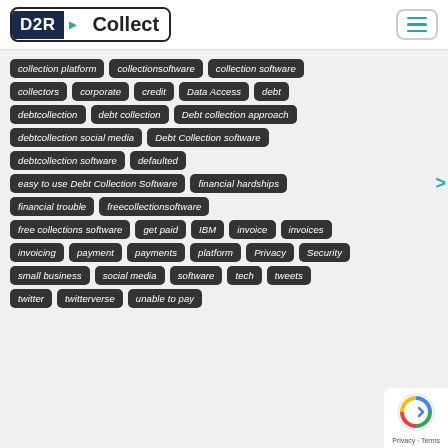[Figure (logo): D2R Collect logo with hamburger menu icon]
collection platform
collectionsoftware
collection software
collectors
corporate
credit
Data Access
debt
debtcollection
debt collection
Debt collection approach
debtcollection social media
Debt Collection software
debtcollection software
defaulted
easy to use Debt Collection Software
financial hardships
financial trouble
freecollectionsoftware
free collections software
get paid
IBM
invoice
invoices
invoicing
payment
payments
platform
Privacy
Security
small business
social media
software
tech
tweets
twitter
twitterverse
unable to pay